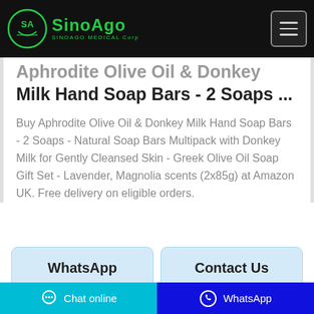SinoAgo Medical Corp
Aphrodite Olive Oil & Donkey Milk Hand Soap Bars - 2 Soaps ...
Buy Aphrodite Olive Oil & Donkey Milk Hand Soap Bars - 2 Soaps - Natural Soap Bars Multipack with Donkey Milk for Gently Cleansed Skin - Greek Olive Oil Soap Gift Set - Lavender, Magnolia scents (2x85g) at Amazon UK. Free delivery on eligible orders.
WhatsApp
Contact Us
Chat online  WhatsApp